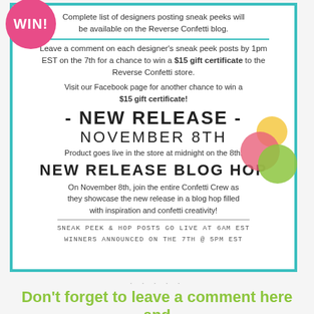Complete list of designers posting sneak peeks will be available on the Reverse Confetti blog.
Leave a comment on each designer's sneak peek posts by 1pm EST on the 7th for a chance to win a $15 gift certificate to the Reverse Confetti store.
Visit our Facebook page for another chance to win a $15 gift certificate!
- NEW RELEASE - NOVEMBER 8TH
Product goes live in the store at midnight on the 8th.
NEW RELEASE BLOG HOP
On November 8th, join the entire Confetti Crew as they showcase the new release in a blog hop filled with inspiration and confetti creativity!
SNEAK PEEK & HOP POSTS GO LIVE AT 6AM EST
WINNERS ANNOUNCED ON THE 7TH @ 5PM EST
. . . . .
Don't forget to leave a comment here and